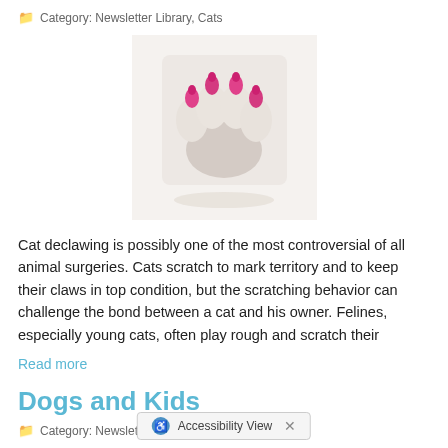Category: Newsletter Library, Cats
[Figure (photo): Close-up photo of white cat paws with pink nail caps on a light surface]
Cat declawing is possibly one of the most controversial of all animal surgeries. Cats scratch to mark territory and to keep their claws in top condition, but the scratching behavior can challenge the bond between a cat and his owner. Felines, especially young cats, often play rough and scratch their
Read more
Dogs and Kids
Category: Newsletter Library, Tips for Pet Owners
The image of your child and dog as inseparable, best friends is a great one that we'd all love to be reality. With the right awareness, our children a… wonderful